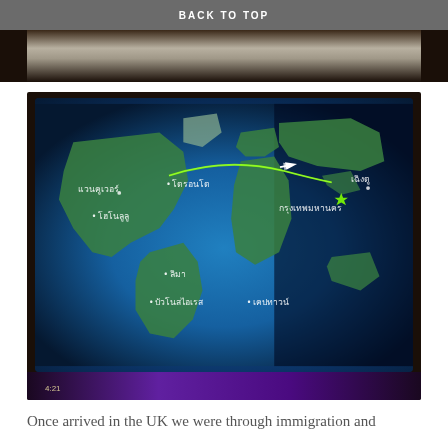BACK TO TOP
[Figure (photo): Aircraft in-flight entertainment screen showing a world map with Thai language city labels. A green route line traces a path from North America across the Pacific toward Bangkok (กรุงเทพมหานคร). Cities labeled include แวนคูเวอร์ (Vancouver), โตรอนโต (Toronto), โฮโนลูลู (Honolulu), ลิมา (Lima), บัวโนสไอเรส (Buenos Aires), เคปทาวน์ (Cape Town), and เฉิงตู (Chengdu). A plane icon is shown mid-flight over the Pacific.]
Once arrived in the UK we were through immigration and